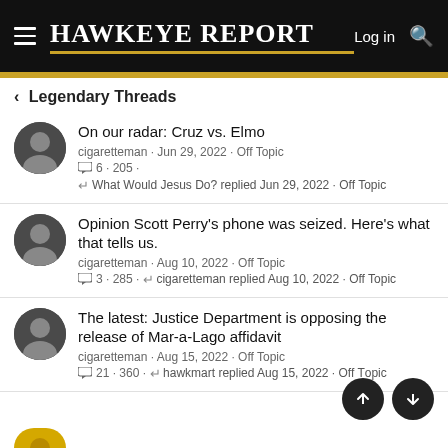HAWKEYE REPORT — Log in
< Legendary Threads
On our radar: Cruz vs. Elmo
cigaretteman · Jun 29, 2022 · Off Topic
6 · 205 ·
What Would Jesus Do? replied Jun 29, 2022 · Off Topic
Opinion Scott Perry's phone was seized. Here's what that tells us.
cigaretteman · Aug 10, 2022 · Off Topic
3 · 285 · cigaretteman replied Aug 10, 2022 · Off Topic
The latest: Justice Department is opposing the release of Mar-a-Lago affidavit
cigaretteman · Aug 15, 2022 · Off Topic
21 · 360 · hawkmart replied Aug 15, 2022 · Off Topic